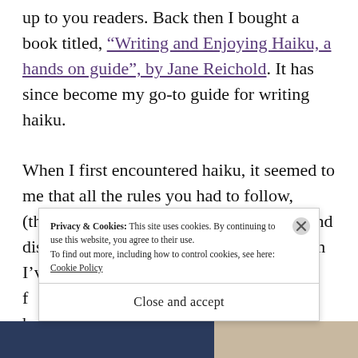up to you readers. Back then I bought a book titled, “Writing and Enjoying Haiku, a hands on guide”, by Jane Reichold. It has since become my go-to guide for writing haiku.
When I first encountered haiku, it seemed to me that all the rules you had to follow, (there are quite a few) were too limiting and distracting to write good poetry. Since then I’ve discovered that the rules are f... h...
Privacy & Cookies: This site uses cookies. By continuing to use this website, you agree to their use. To find out more, including how to control cookies, see here: Cookie Policy
Close and accept